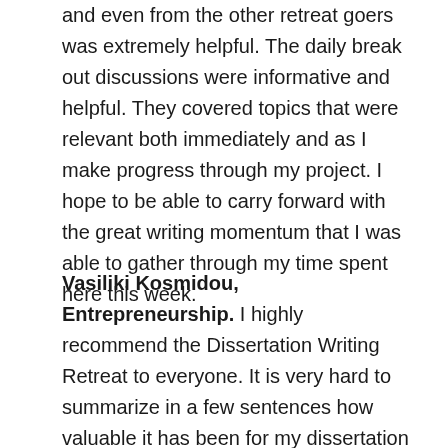and even from the other retreat goers was extremely helpful. The daily break out discussions were informative and helpful. They covered topics that were relevant both immediately and as I make progress through my project. I hope to be able to carry forward with the great writing momentum that I was able to gather through my time spent here this week.
Vasiliki Kosmidou, Entrepreneurship. I highly recommend the Dissertation Writing Retreat to everyone. It is very hard to summarize in a few sentences how valuable it has been for my dissertation progress. I came to the Retreat while still collecting my data, so I was able to use my time efficiently to write up my methods section and organize the overall structure of my chapters. Beyond the sense of accountability and community, I